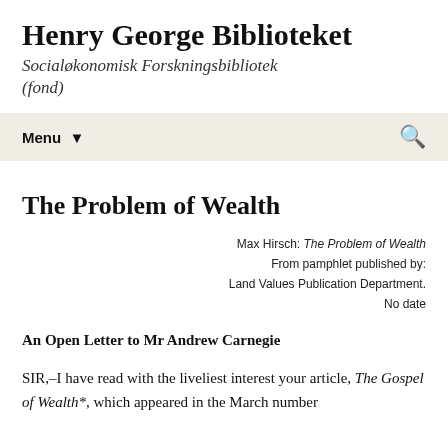Henry George Biblioteket
Socialøkonomisk Forskningsbibliotek (fond)
Menu ▼
The Problem of Wealth
Max Hirsch: The Problem of Wealth
From pamphlet published by:
Land Values Publication Department.
No date
An Open Letter to Mr Andrew Carnegie
SIR,–I have read with the liveliest interest your article, The Gospel of Wealth*, which appeared in the March number